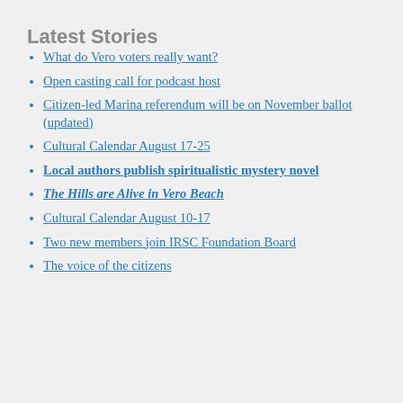Latest Stories
What do Vero voters really want?
Open casting call for podcast host
Citizen-led Marina referendum will be on November ballot (updated)
Cultural Calendar August 17-25
Local authors publish spiritualistic mystery novel
The Hills are Alive in Vero Beach
Cultural Calendar August 10-17
Two new members join IRSC Foundation Board
The voice of the citizens